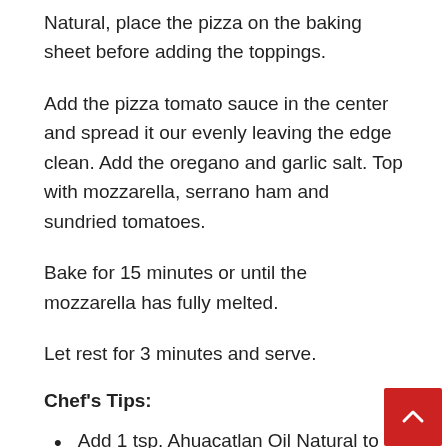Natural, place the pizza on the baking sheet before adding the toppings.
Add the pizza tomato sauce in the center and spread it our evenly leaving the edge clean. Add the oregano and garlic salt. Top with mozzarella, serrano ham and sundried tomatoes.
Bake for 15 minutes or until the mozzarella has fully melted.
Let rest for 3 minutes and serve.
Chef's Tips:
Add 1 tsp. Ahuacatlan Oil Natural to the dough to avoid sticking.